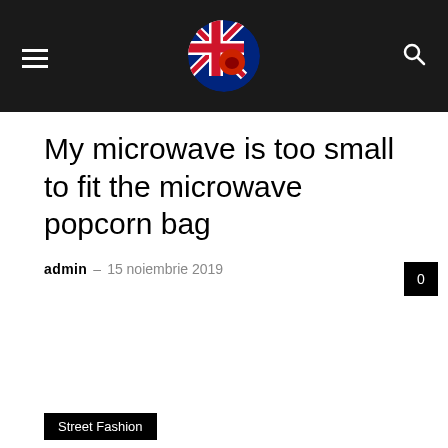admin · 15 noiembrie 2019
My microwave is too small to fit the microwave popcorn bag
admin – 15 noiembrie 2019
0
Street Fashion